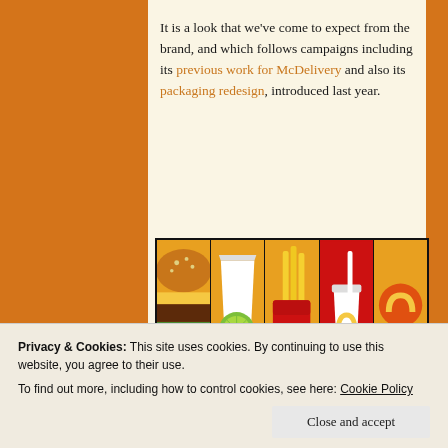It is a look that we've come to expect from the brand, and which follows campaigns including its previous work for McDelivery and also its packaging redesign, introduced last year.
[Figure (illustration): Five-panel McDonald's illustrated campaign image showing close-up illustrations of McDonald's food and drink items: burger, drink cup with lime, fries bag, golden arches cup, and McDelivery logo on yellow background. Panels are separated by black dividers.]
In this new campaign, the posters feature...
Privacy & Cookies: This site uses cookies. By continuing to use this website, you agree to their use.
To find out more, including how to control cookies, see here: Cookie Policy
Close and accept